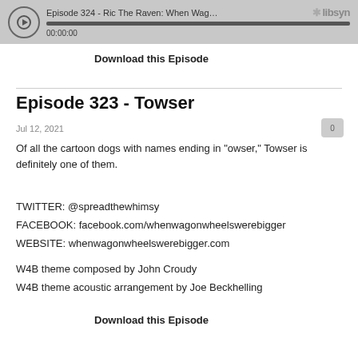[Figure (screenshot): Podcast audio player bar showing episode title 'Episode 324 - Ric The Raven: When Wagon Wheels Were ...' with play button, progress bar at 00:00:00, and libsyn logo]
Download this Episode
Episode 323 - Towser
Jul 12, 2021
Of all the cartoon dogs with names ending in "owser," Towser is definitely one of them.
TWITTER: @spreadthewhimsy
FACEBOOK: facebook.com/whenwagonwheelswerebigger
WEBSITE: whenwagonwheelswerebigger.com
W4B theme composed by John Croudy
W4B theme acoustic arrangement by Joe Beckhelling
Download this Episode